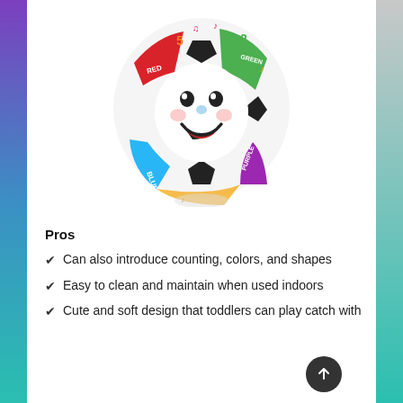[Figure (photo): Fisher-Price laugh and learn soccer ball toy with a smiley face and colorful panels labeled with colors (Red, Green, Blue, Purple) and numbers, with musical note decorations.]
Pros
Can also introduce counting, colors, and shapes
Easy to clean and maintain when used indoors
Cute and soft design that toddlers can play catch with